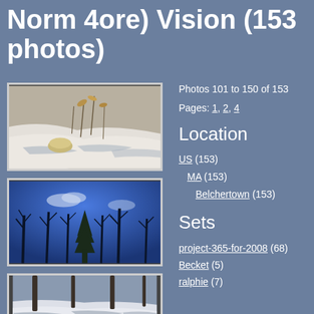Norm 4ore) Vision (153 photos)
[Figure (photo): Winter scene with snow-covered ground, dried plant stalks and a rock, with blue shadows on snow]
[Figure (photo): Looking up through bare winter trees against a deep blue sky with light clouds]
[Figure (photo): Winter forest scene with snow on ground and tree trunks]
Photos 101 to 150 of 153
Pages: 1, 2, 4
Location
US (153)
MA (153)
Belchertown (153)
Sets
project-365-for-2008 (68)
Becket (5)
ralphie (7)